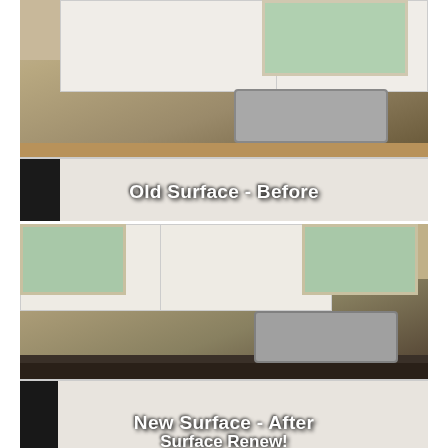[Figure (photo): Before photo of a kitchen showing old laminate countertop surface in a warm brown/tan color, with white cabinets above and below, a stainless steel double sink on the right, and a window in the background. Text overlay reads 'Old Surface - Before'.]
[Figure (photo): After photo of the same kitchen showing new dark (dark brown/espresso) countertop surface, with white cabinets above and below, a stainless steel double sink on the right, and windows visible. Text overlay reads 'New Surface - After' and partially visible text below reads 'Surface Renew!' or similar.]